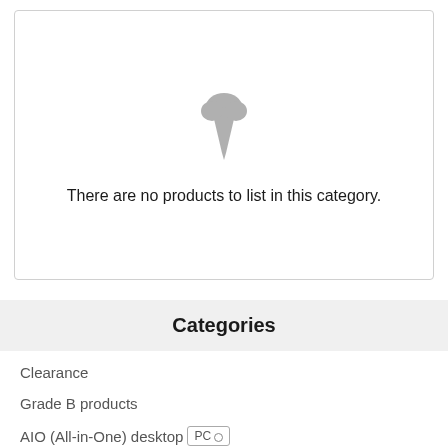[Figure (illustration): Gray ice cream cone icon indicating empty/no products state]
There are no products to list in this category.
Categories
Clearance
Grade B products
AIO (All-in-One) desktop PC